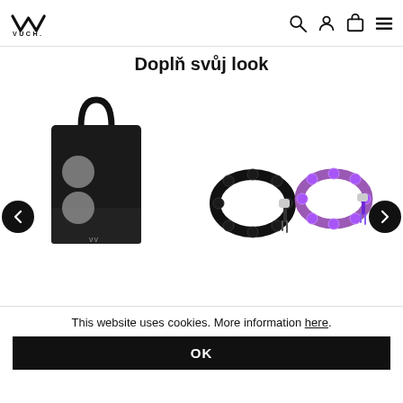VUCH. [logo] [search icon] [user icon] [bag icon] [menu icon]
Doplň svůj look
[Figure (photo): Black leather crossbody/backpack bag with two round gray disc details and a top handle, VUCH logo on front, displayed on white background]
[Figure (photo): Two bead bracelets side by side: one with black lava beads and a tassel, one with purple/violet beads and a tassel]
Woozle... [product name partially visible]
Radyolmore... [product name partially visible]
59.-- [price partially visible]
319.-- [price partially visible]
This website uses cookies. More information here.
OK